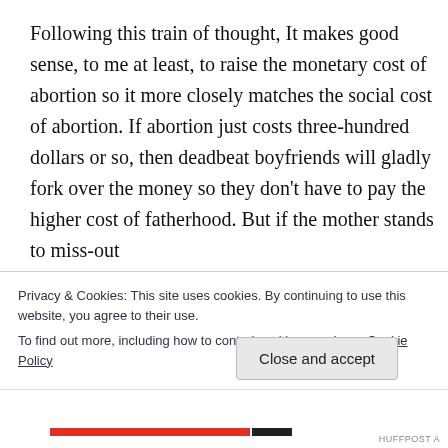Following this train of thought, It makes good sense, to me at least, to raise the monetary cost of abortion so it more closely matches the social cost of abortion. If abortion just costs three-hundred dollars or so, then deadbeat boyfriends will gladly fork over the money so they don't have to pay the higher cost of fatherhood. But if the mother stands to miss-out
Privacy & Cookies: This site uses cookies. By continuing to use this website, you agree to their use.
To find out more, including how to control cookies, see here: Cookie Policy
Close and accept